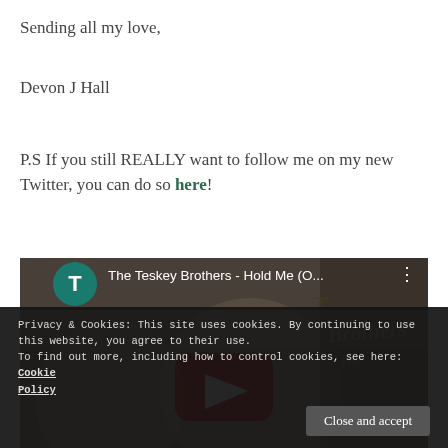Sending all my love,
Devon J Hall
P.S If you still REALLY want to follow me on my new Twitter, you can do so here!
[Figure (screenshot): YouTube video embed showing The Teskey Brothers - Hold Me (O... with a teal T avatar icon, YouTube play button overlay, and ornate Brothers logo watermark on the right]
Privacy & Cookies: This site uses cookies. By continuing to use this website, you agree to their use.
To find out more, including how to control cookies, see here: Cookie Policy
Close and accept